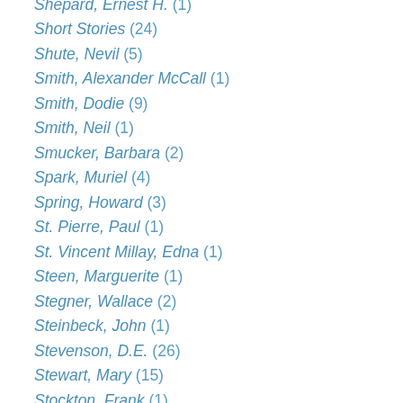Shepard, Ernest H. (1)
Short Stories (24)
Shute, Nevil (5)
Smith, Alexander McCall (1)
Smith, Dodie (9)
Smith, Neil (1)
Smucker, Barbara (2)
Spark, Muriel (4)
Spring, Howard (3)
St. Pierre, Paul (1)
St. Vincent Millay, Edna (1)
Steen, Marguerite (1)
Stegner, Wallace (2)
Steinbeck, John (1)
Stevenson, D.E. (26)
Stewart, Mary (15)
Stockton, Frank (1)
Strachey, Julia (1)
Stratton-Porter, Gene (5)
Strayed, Cheryl (1)